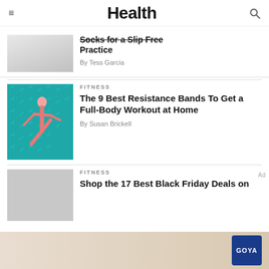Health
Socks for a Slip Free Practice
By Tess Garcia
FITNESS
The 9 Best Resistance Bands To Get a Full-Body Workout at Home
By Susan Brickell
FITNESS
Shop the 17 Best Black Friday Deals on
Ad